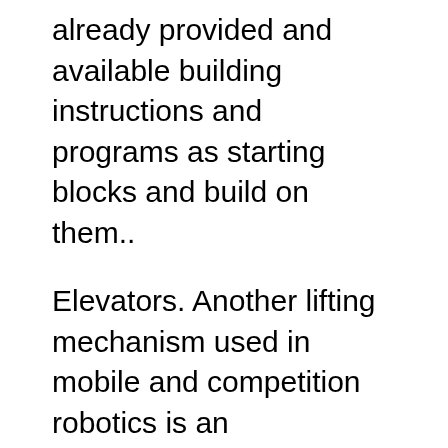already provided and available building instructions and programs as starting blocks and build on them..
Elevators. Another lifting mechanism used in mobile and competition robotics is an Elevator.While not as common as the Rotating Joint, the Elevator uses linear (straight line) motion to lift straight up. In VEX IQ, one way that elevators can be built is with Rack Gears and Linear Sliders, both sold as part of the Gear Kit. Oct 02, 2010B B· //599 Robodox Vex Team //Author:Chris S. Engineering Mentor //Sample auto lift control program that uses a potentiometer to sense lift position. //Simply hook up a motor to a